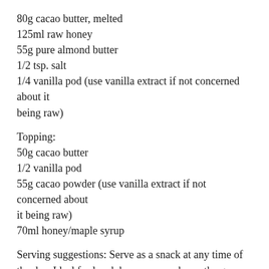80g cacao butter, melted
125ml raw honey
55g pure almond butter
1/2 tsp. salt
1/4 vanilla pod (use vanilla extract if not concerned about it being raw)
Topping:
50g cacao butter
1/2 vanilla pod
55g cacao powder (use vanilla extract if not concerned about it being raw)
70ml honey/maple syrup
Serving suggestions: Serve as a snack at any time of the day. Ideal for lunch boxes or snacks on the go or post workout or perhaps something sweet with a cup of tea.
Storage: Best stored in the fridge in an airtight container for up to 3 weeks.
For more, subscribe to my channel: